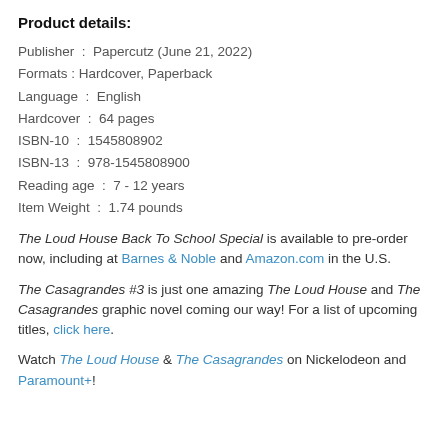Product details:
Publisher  :  Papercutz (June 21, 2022)
Formats : Hardcover, Paperback
Language  :  English
Hardcover  :  64 pages
ISBN-10  :  1545808902
ISBN-13  :  978-1545808900
Reading age  :  7 - 12 years
Item Weight  :  1.74 pounds
The Loud House Back To School Special is available to pre-order now, including at Barnes & Noble and Amazon.com in the U.S.
The Casagrandes #3 is just one amazing The Loud House and The Casagrandes graphic novel coming our way! For a list of upcoming titles, click here.
Watch The Loud House & The Casagrandes on Nickelodeon and Paramount+!